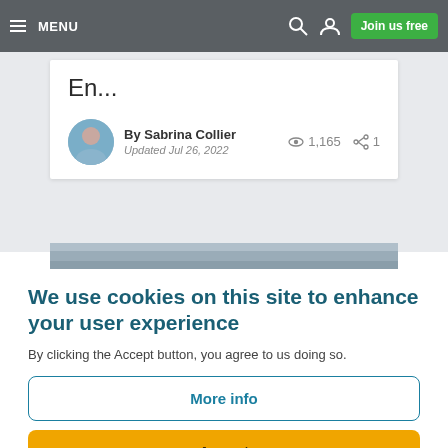MENU | Search | User | Join us free
En...
By Sabrina Collier
Updated Jul 26, 2022
1,165 views  1 share
We use cookies on this site to enhance your user experience
By clicking the Accept button, you agree to us doing so.
More info
Accept